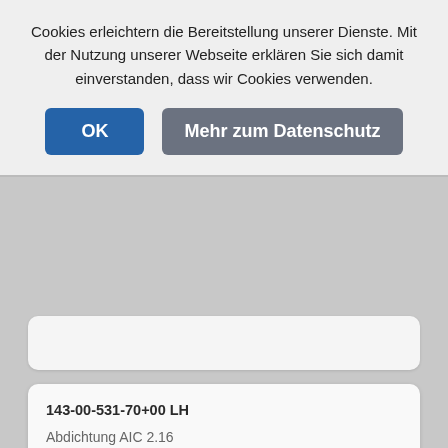Cookies erleichtern die Bereitstellung unserer Dienste. Mit der Nutzung unserer Webseite erklären Sie sich damit einverstanden, dass wir Cookies verwenden.
OK
Mehr zum Datenschutz
143-00-531-70+00 LH
Abdichtung AIC 2.16
Material: RAU-SIK 8964
3100035
Sliding strip 2 mm
without tape, Color: black